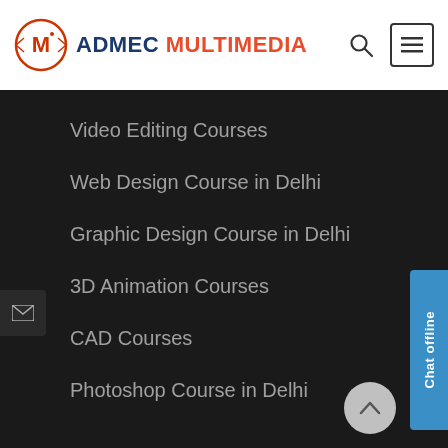ADMEC MULTIMEDIA
Video Editing Courses
Web Design Course in Delhi
Graphic Design Course in Delhi
3D Animation Courses
CAD Courses
Photoshop Course in Delhi